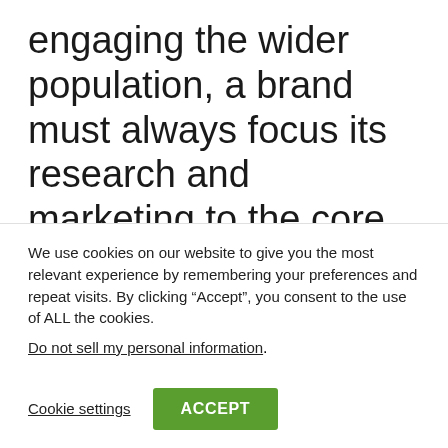engaging the wider population, a brand must always focus its research and marketing to the core audience, and in this case it is the Muslim population. The physical needs of this market sector are, by large, shared with
We use cookies on our website to give you the most relevant experience by remembering your preferences and repeat visits. By clicking “Accept”, you consent to the use of ALL the cookies.
Do not sell my personal information.
Cookie settings
ACCEPT